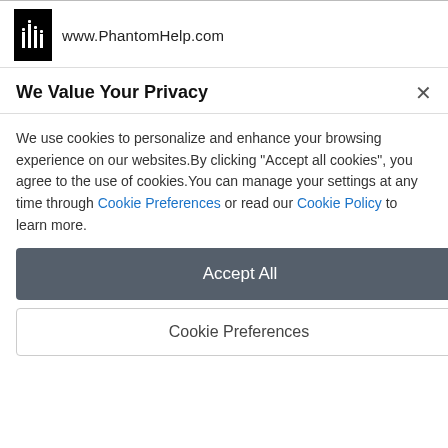[Figure (logo): PhantomHelp logo — black rectangle with white silhouette figures]
www.PhantomHelp.com
We Value Your Privacy
We use cookies to personalize and enhance your browsing experience on our websites.By clicking "Accept all cookies", you agree to the use of cookies.You can manage your settings at any time through Cookie Preferences or read our Cookie Policy to learn more.
Accept All
Cookie Preferences